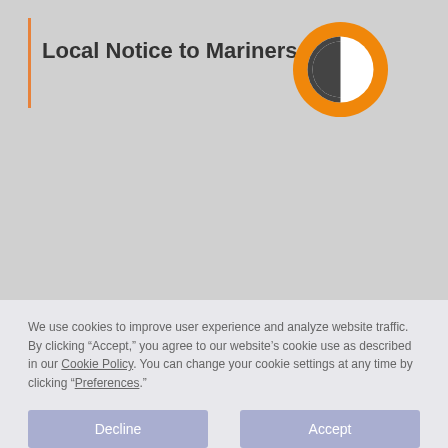Local Notice to Mariners
[Figure (logo): Orange circle logo with a half-filled circle icon in white and dark, resembling a contrast/theme toggle symbol]
We use cookies to improve user experience and analyze website traffic. By clicking “Accept,” you agree to our website’s cookie use as described in our Cookie Policy. You can change your cookie settings at any time by clicking “Preferences.”
Decline
Accept